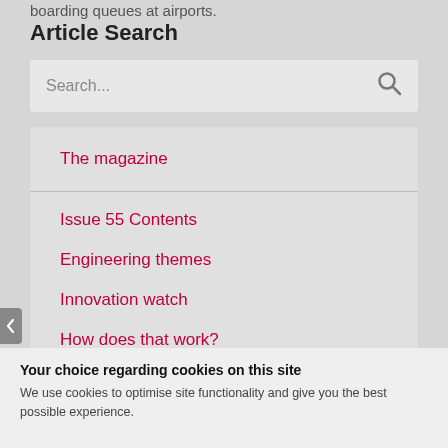boarding queues at airports.
Article Search
Search...
The magazine
Issue 55 Contents
Engineering themes
Innovation watch
How does that work?
Profil...
Your choice regarding cookies on this site
We use cookies to optimise site functionality and give you the best possible experience.